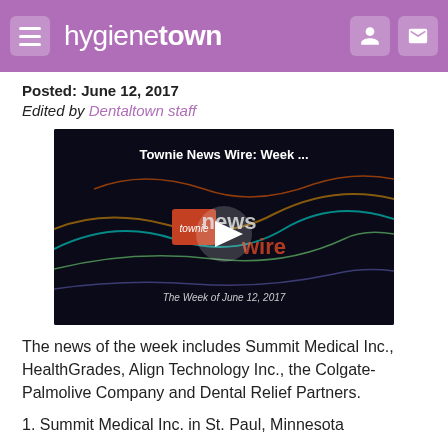hygienetown
Posted: June 12, 2017
Edited by Dentaltown staff
[Figure (screenshot): Video thumbnail for 'Townie News Wire: Week ...' showing a dark background with glowing neon text reading 'townie news wire' and the subtitle 'The Week of June 12, 2017', with a white play button in the center.]
The news of the week includes Summit Medical Inc., HealthGrades, Align Technology Inc., the Colgate-Palmolive Company and Dental Relief Partners.
1. Summit Medical Inc. in St. Paul, Minnesota